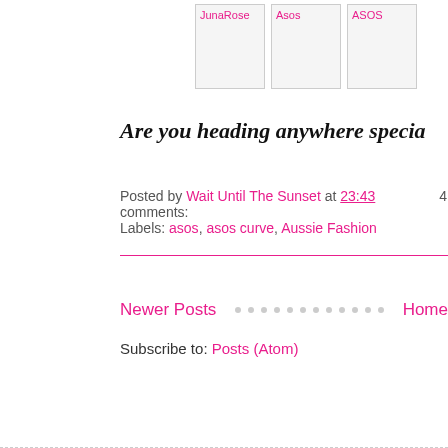[Figure (photo): Three small image thumbnails: JunaRose, Asos, ASOS]
Are you heading anywhere specia
Posted by Wait Until The Sunset at 23:43   4 comments:
Labels: asos, asos curve, Aussie Fashion
Newer Posts  ·  ·  ·  ·  ·  ·  ·  ·  ·  ·  ·  ·  ·  Home
Subscribe to: Posts (Atom)